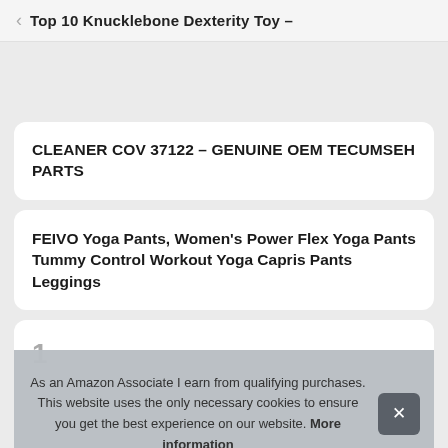Top 10 Knucklebone Dexterity Toy –
CLEANER COV 37122 – GENUINE OEM TECUMSEH PARTS
FEIVO Yoga Pants, Women's Power Flex Yoga Pants Tummy Control Workout Yoga Capris Pants Leggings
As an Amazon Associate I earn from qualifying purchases. This website uses the only necessary cookies to ensure you get the best experience on our website. More information
Multi-Purpose Home and Garden Scissors